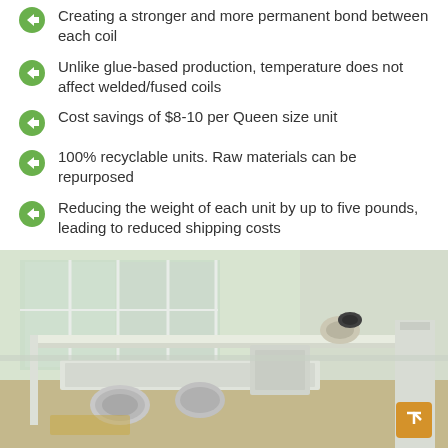Creating a stronger and more permanent bond between each coil
Unlike glue-based production, temperature does not affect welded/fused coils
Cost savings of $8-10 per Queen size unit
100% recyclable units. Raw materials can be repurposed
Reducing the weight of each unit by up to five pounds, leading to reduced shipping costs
[Figure (photo): Industrial manufacturing equipment showing metal coil welding/fusing machinery in a factory setting with pressing mechanisms and rollers visible]